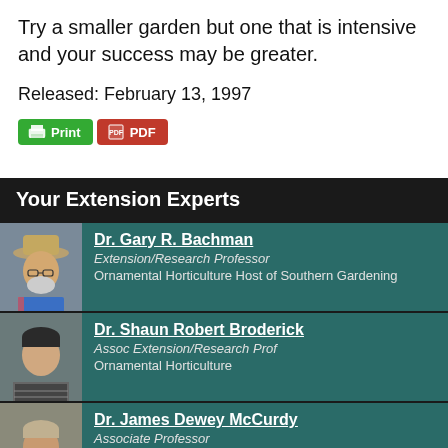Try a smaller garden but one that is intensive and your success may be greater.
Released: February 13, 1997
Print  PDF
Your Extension Experts
Dr. Gary R. Bachman
Extension/Research Professor
Ornamental Horticulture Host of Southern Gardening
Dr. Shaun Robert Broderick
Assoc Extension/Research Prof
Ornamental Horticulture
Dr. James Dewey McCurdy
Associate Professor
Turfgrass Extension Specialist/Weed